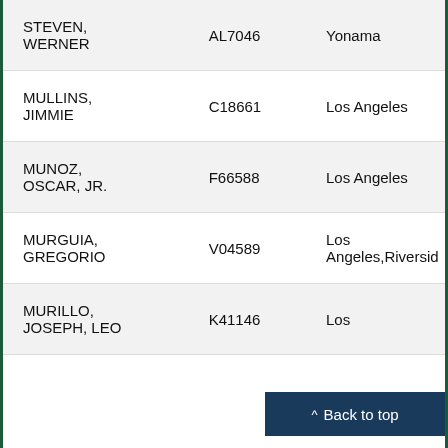| STEVEN, WERNER | AL7046 | Yonama |
| MULLINS, JIMMIE | C18661 | Los Angeles |
| MUNOZ, OSCAR, JR. | F66588 | Los Angeles |
| MURGUIA, GREGORIO | V04589 | Los Angeles,Riverside |
| MURILLO, JOSEPH, LEO | K41146 | Los... |